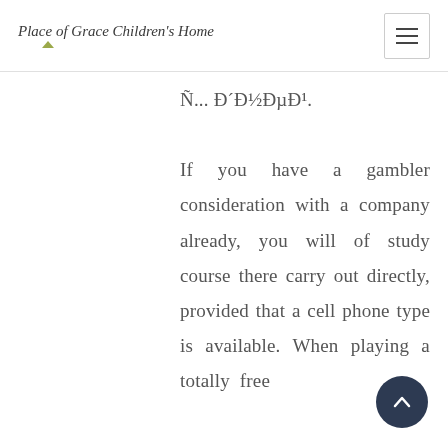Place of Grace Children's Home
Ñ... Ð´Ð½ÐµÐ¹. If you have a gambler consideration with a company already, you will of study course there carry out directly, provided that a cell phone type is available. When playing a totally free